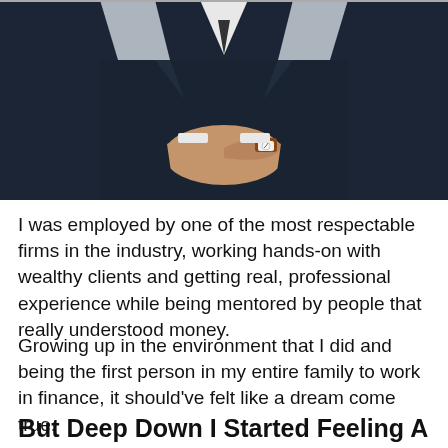[Figure (photo): A man in a dark navy suit with clasped hands, wearing a watch with a red/brown strap and white face. His torso and hands are visible, standing near what appears to be a glass railing or counter.]
I was employed by one of the most respectable firms in the industry, working hands-on with wealthy clients and getting real, professional experience while being mentored by people that really understood money.
Growing up in the environment that I did and being the first person in my entire family to work in finance, it should've felt like a dream come true.
But Deep Down I Started Feeling A